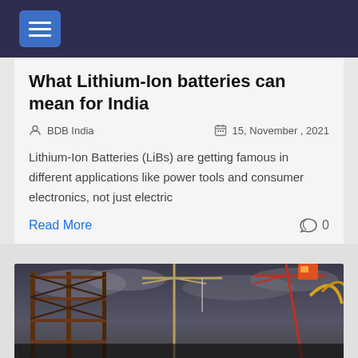≡ (hamburger menu)
What Lithium-Ion batteries can mean for India
BDB India   15, November , 2021
Lithium-Ion Batteries (LiBs) are getting famous in different applications like power tools and consumer electronics, not just electric
Read More   0
[Figure (photo): Construction site with steel frame building structure and cranes against a cloudy sky, dark moody lighting]